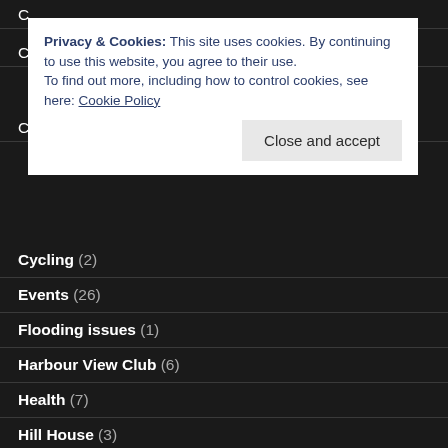Privacy & Cookies: This site uses cookies. By continuing to use this website, you agree to their use.
To find out more, including how to control cookies, see here: Cookie Policy
Close and accept
Cycling (2)
Events (26)
Flooding issues (1)
Harbour View Club (6)
Health (7)
Hill House (3)
Hinkley C Development (6)
Hinkley Point (4)
Local issues (3)